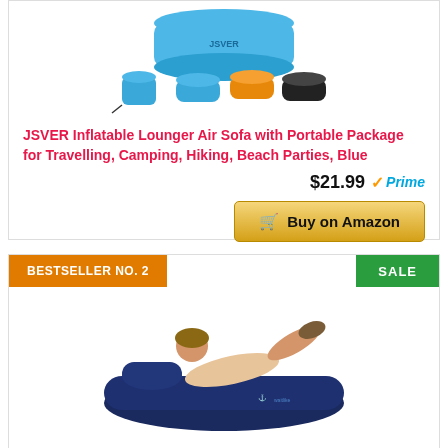[Figure (photo): JSVER Inflatable Lounger product images: main blue inflatable sofa bag at top, then small product bag and three color variants (blue, orange, black) below]
JSVER Inflatable Lounger Air Sofa with Portable Package for Travelling, Camping, Hiking, Beach Parties, Blue
$21.99 Prime
Buy on Amazon
BESTSELLER NO. 2
SALE
[Figure (photo): Person lounging on a dark navy inflatable air sofa/lounger outdoors]